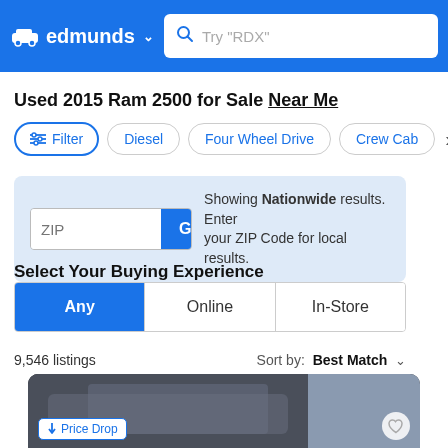edmunds — search bar with Try "RDX" placeholder
Used 2015 Ram 2500 for Sale Near Me
Filter | Diesel | Four Wheel Drive | Crew Cab
ZIP — Go — Showing Nationwide results. Enter your ZIP Code for local results.
Select Your Buying Experience
Any | Online | In-Store
9,546 listings   Sort by: Best Match
[Figure (photo): Partial view of a pickup truck, dark colored, with Price Drop badge and heart icon]